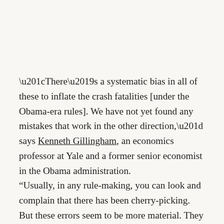“There’s a systematic bias in all of these to inflate the crash fatalities [under the Obama-era rules]. We have not yet found any mistakes that work in the other direction,” says Kenneth Gillingham, an economics professor at Yale and a former senior economist in the Obama administration.
“Usually, in any rule-making, you can look and complain that there has been cherry-picking. But these errors seem to be more material. They move